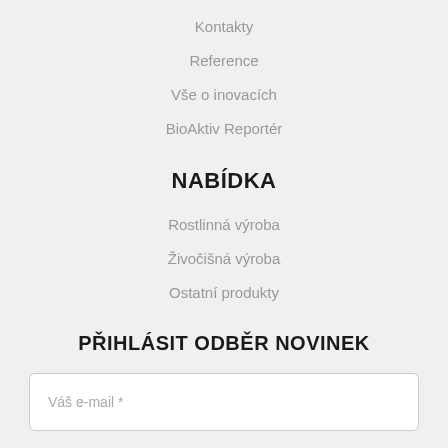Kontakty
Reference
Vše o inovacích
BioAktiv Reportér
NABÍDKA
Rostlinná výroba
Živočišná výroba
Ostatní produkty
PŘIHLÁSIT ODBĚR NOVINEK
Váš e-mail *